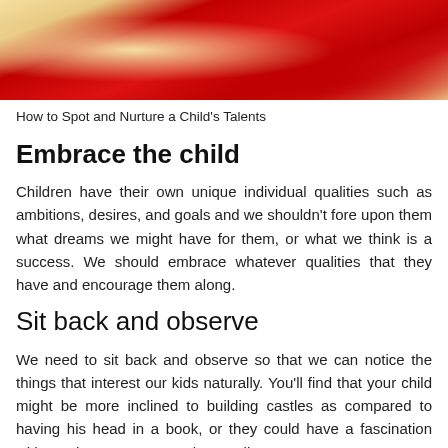[Figure (photo): Top portion of a photo showing red fabric/cape against a warm golden/cream background]
How to Spot and Nurture a Child's Talents
Embrace the child
Children have their own unique individual qualities such as ambitions, desires, and goals and we shouldn't fore upon them what dreams we might have for them, or what we think is a success. We should embrace whatever qualities that they have and encourage them along.
Sit back and observe
We need to sit back and observe so that we can notice the things that interest our kids naturally. You'll find that your child might be more inclined to building castles as compared to having his head in a book, or they could have a fascination with numbers as compared to reading. Once